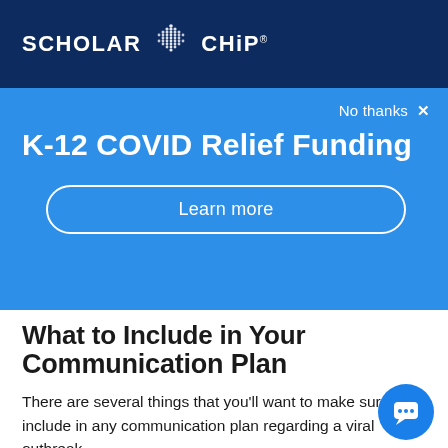SCHOLAR CHIP
K-12 COVID Relief Funding
No thanks ×
Learn more
What to Include in Your Communication Plan
There are several things that you'll want to make sure to include in any communication plan regarding a viral outbreak.
What you know and what you don't: Include the information and data that you have as you send messages to families or the me… Also, include what information you don't know